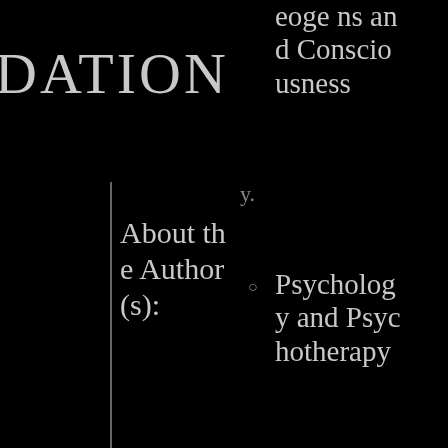DATION
y.
About the Author(s):
Dean Radin, PhD
eoge ns and Consciousness
Psychology and Psychotherapy
Parapsychology and Psychical Research